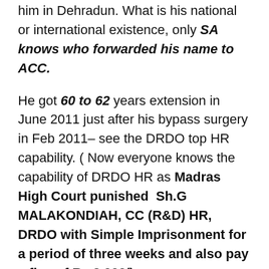him in Dehradun. What is his national or international existence, only SA knows who forwarded his name to ACC.
He got 60 to 62 years extension in June 2011 just after his bypass surgery in Feb 2011– see the DRDO top HR capability. ( Now everyone knows the capability of DRDO HR as Madras High Court punished Sh.G MALAKONDIAH, CC (R&D) HR, DRDO with Simple Imprisonment for a period of three weeks and also pay a fine of Rs.2,000/)
In the name of 100 Cr project Software Defined Radio (SDR) (PDC 36 Months) the status of project till date same as in the time of...